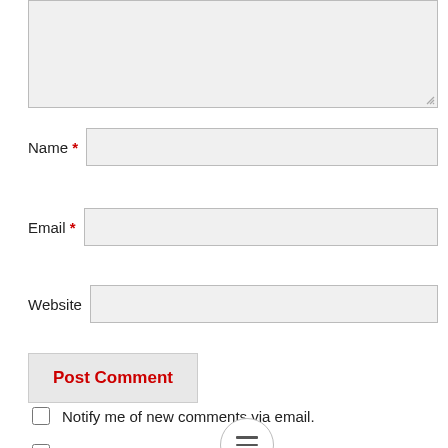[Figure (screenshot): Comment textarea input box (empty, light gray background) with resize handle in bottom-right corner]
Name *
[Figure (screenshot): Name input text field (empty, light gray background)]
Email *
[Figure (screenshot): Email input text field (empty, light gray background)]
Website
[Figure (screenshot): Website input text field (empty, light gray background)]
[Figure (screenshot): Post Comment button with red bold text on light gray background]
Notify me of new comments via email.
Notify me of new posts via email.
[Figure (other): Hamburger menu icon (three horizontal lines) inside a circle]